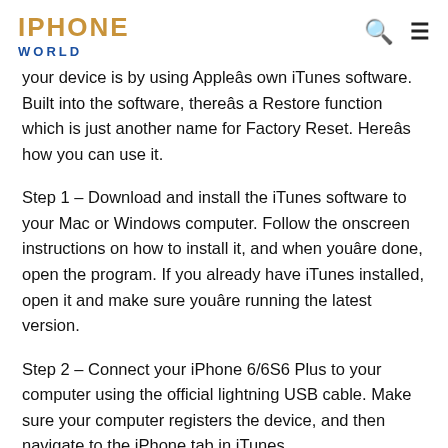IPHONE WORLD
your device is by using Appleâs own iTunes software. Built into the software, thereâs a Restore function which is just another name for Factory Reset. Hereâs how you can use it.
Step 1 – Download and install the iTunes software to your Mac or Windows computer. Follow the onscreen instructions on how to install it, and when youâre done, open the program. If you already have iTunes installed, open it and make sure youâre running the latest version.
Step 2 – Connect your iPhone 6/6S6 Plus to your computer using the official lightning USB cable. Make sure your computer registers the device, and then navigate to the iPhone tab in iTunes.